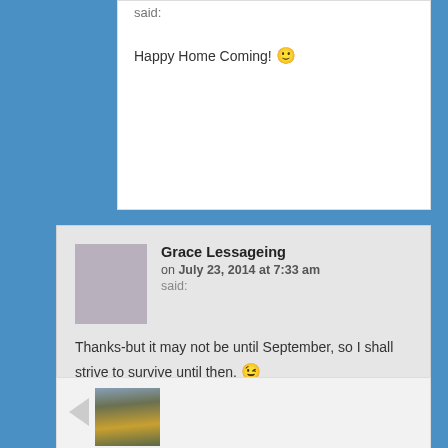said:
Happy Home Coming! 🙂
Grace Lessageing on July 23, 2014 at 7:33 am said:
Thanks-but it may not be until September, so I shall strive to survive until then. 😉
[Figure (photo): Avatar photo of a person at the beach wearing a yellow jacket and red hat]
[Figure (photo): Small avatar photo of Grace Lessageing, a woman]